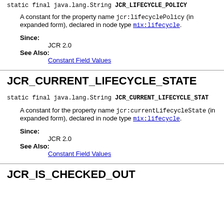static final java.lang.String JCR_LIFECYCLE_POLICY
A constant for the property name jcr:lifecyclePolicy (in expanded form), declared in node type mix:lifecycle.
Since:
JCR 2.0
See Also:
Constant Field Values
JCR_CURRENT_LIFECYCLE_STATE
static final java.lang.String JCR_CURRENT_LIFECYCLE_STATE
A constant for the property name jcr:currentLifecycleState (in expanded form), declared in node type mix:lifecycle.
Since:
JCR 2.0
See Also:
Constant Field Values
JCR_IS_CHECKED_OUT